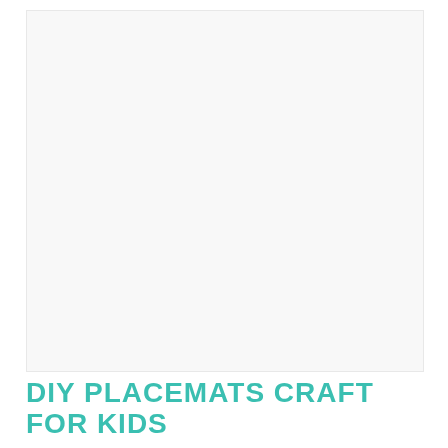[Figure (photo): Blank white/light gray photo placeholder area representing a DIY placemats craft image for kids]
DIY PLACEMATS CRAFT FOR KIDS